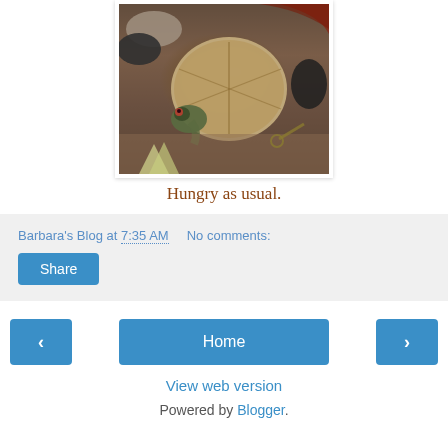[Figure (photo): A turtle viewed from above in what appears to be a terrarium or bowl, surrounded by rocks and substrate. The turtle's shell and head are visible.]
Hungry as usual.
Barbara's Blog at 7:35 AM   No comments:
Share
‹  Home  ›
View web version
Powered by Blogger.